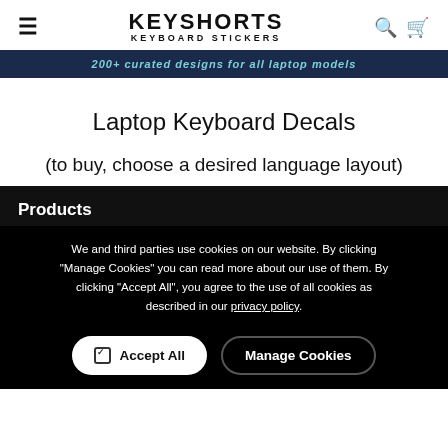KEYSHORTS KEYBOARD STICKERS
[Figure (screenshot): Navigation banner with dark blue background showing text: 200+ curated designs for all laptop models]
Laptop Keyboard Decals
(to buy, choose a desired language layout)
Products
We and third parties use cookies on our website. By clicking "Manage Cookies" you can read more about our use of them. By clicking "Accept All", you agree to the use of all cookies as described in our privacy policy.
✓ Accept All   Manage Cookies